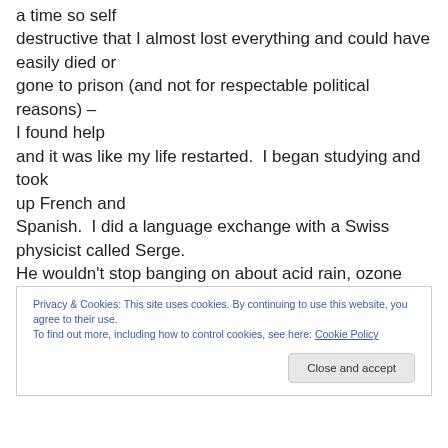a time so self destructive that I almost lost everything and could have easily died or gone to prison (and not for respectable political reasons) – I found help and it was like my life restarted.  I began studying and took up French and Spanish.  I did a language exchange with a Swiss physicist called Serge. He wouldn't stop banging on about acid rain, ozone layers and climate
Privacy & Cookies: This site uses cookies. By continuing to use this website, you agree to their use. To find out more, including how to control cookies, see here: Cookie Policy
Close and accept